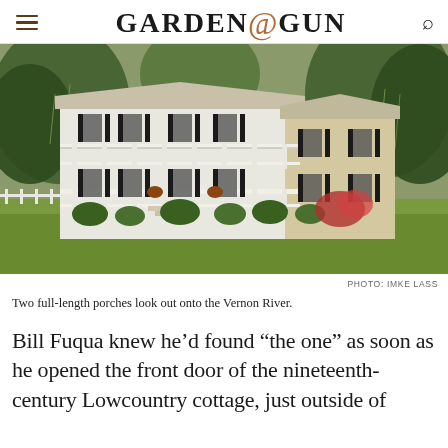GARDEN & GUN
[Figure (photo): A large two-story white Southern Lowcountry cottage with two full-length porches, black shutters, surrounded by lush green lawn and trees with Spanish moss.]
PHOTO: IMKE LASS
Two full-length porches look out onto the Vernon River.
Bill Fuqua knew he’d found “the one” as soon as he opened the front door of the nineteenth-century Lowcountry cottage, just outside of